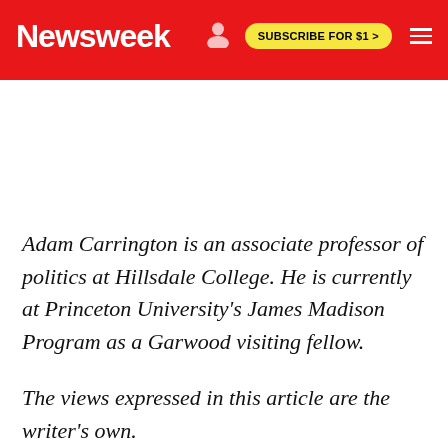Newsweek
Adam Carrington is an associate professor of politics at Hillsdale College. He is currently at Princeton University's James Madison Program as a Garwood visiting fellow.
The views expressed in this article are the writer's own.